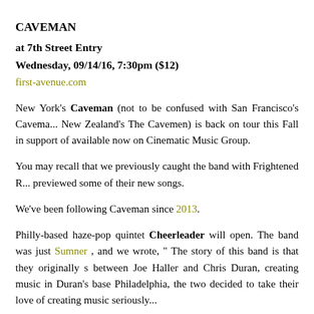CAVEMAN
at 7th Street Entry
Wednesday, 09/14/16, 7:30pm ($12)
first-avenue.com
New York’s Caveman (not to be confused with San Francisco’s Cavema... New Zealand’s The Cavemen) is back on tour this Fall in support of available now on Cinematic Music Group.
You may recall that we previously caught the band with Frightened R... previewed some of their new songs.
We’ve been following Caveman since 2013.
Philly-based haze-pop quintet Cheerleader will open. The band was just Sumner , and we wrote, “ The story of this band is that they originally s between Joe Haller and Chris Duran, creating music in Duran’s base Philadelphia, the two decided to take their love of creating music seriously...